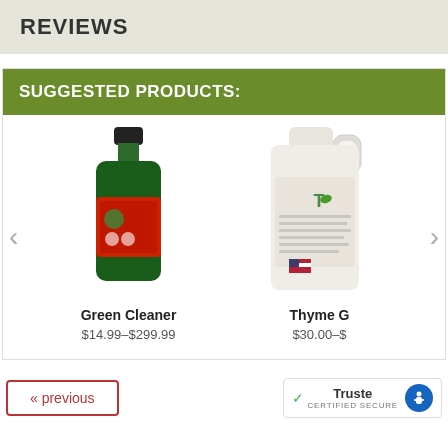REVIEWS
SUGGESTED PRODUCTS:
[Figure (photo): Green Cleaner bottle - dark green plastic bottle with red label]
Green Cleaner
$14.99–$299.99
[Figure (photo): Thyme G product - white plastic jug container with label]
Thyme G
$30.00–$
« previous
[Figure (logo): Trusted secure badge with checkmark and accessibility icon, text: Truste CERTIFIED SECURE]